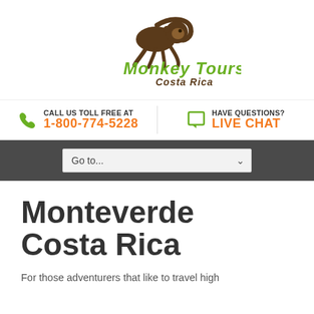[Figure (logo): Monkey Tours Costa Rica logo with a brown monkey silhouette above green and brown text reading 'Monkey Tours Costa Rica']
CALL US TOLL FREE AT 1-800-774-5228
HAVE QUESTIONS? LIVE CHAT
Go to...
Monteverde Costa Rica
For those adventurers that like to travel high